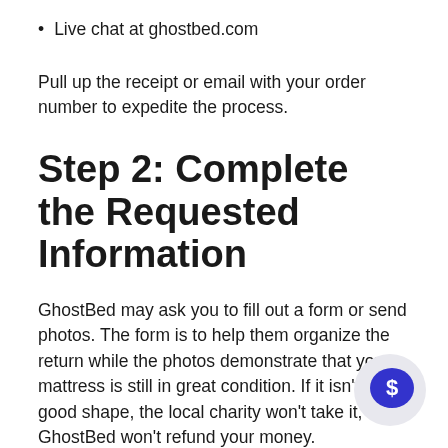Live chat at ghostbed.com
Pull up the receipt or email with your order number to expedite the process.
Step 2: Complete the Requested Information
GhostBed may ask you to fill out a form or send photos. The form is to help them organize the return while the photos demonstrate that your mattress is still in great condition. If it isn't in good shape, the local charity won't take it, and GhostBed won't refund your money.
To protect your new mattress from dust,